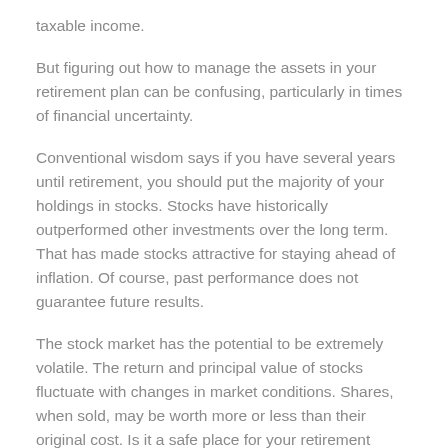taxable income.
But figuring out how to manage the assets in your retirement plan can be confusing, particularly in times of financial uncertainty.
Conventional wisdom says if you have several years until retirement, you should put the majority of your holdings in stocks. Stocks have historically outperformed other investments over the long term. That has made stocks attractive for staying ahead of inflation. Of course, past performance does not guarantee future results.
The stock market has the potential to be extremely volatile. The return and principal value of stocks fluctuate with changes in market conditions. Shares, when sold, may be worth more or less than their original cost. Is it a safe place for your retirement money? Or should you shift more into a money